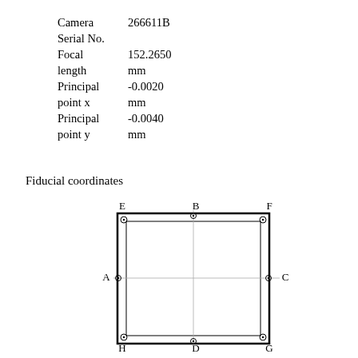Camera Serial No. 266611B
Focal length 152.2650 mm
Principal point x -0.0020 mm
Principal point y -0.0040 mm
Fiducial coordinates
[Figure (engineering-diagram): Diagram of camera fiducial coordinate system showing a rectangular frame with corner fiducials (E, F, G, H) and mid-side fiducials (A, B, C, D). Crosshairs intersect at center. Labels E top-left, B top-center, F top-right, A mid-left, C mid-right, H bottom-left, D bottom-center, G bottom-right.]